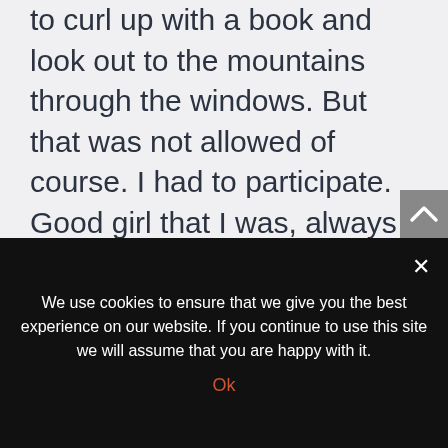to curl up with a book and look out to the mountains through the windows. But that was not allowed of course. I had to participate. Good girl that I was, always obeying, I did as I was told.
And so I did on that last day, where we were to walk a mile or so to another lift that would bring us up onto the highest mountain there. I remember
We use cookies to ensure that we give you the best experience on our website. If you continue to use this site we will assume that you are happy with it.
Ok